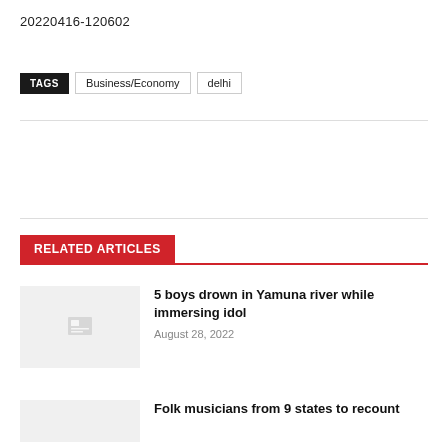20220416-120602
TAGS  Business/Economy  delhi
RELATED ARTICLES
5 boys drown in Yamuna river while immersing idol
August 28, 2022
Folk musicians from 9 states to recount